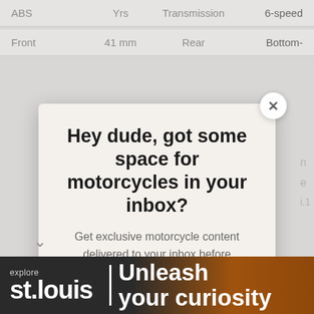| ABS | Yrs | Transmission | 6-speed |
| --- | --- | --- | --- |
| Front | 41 mm | Rear | Bottom- |
| --- | --- | --- | --- |
Hey dude, got some space for motorcycles in your inbox?
Get exclusive motorcycle content delivered to your inbox before everybody else.
HERE'S MY EMAIL
[Figure (screenshot): explore st.louis | Unleash your curiosity advertisement banner]